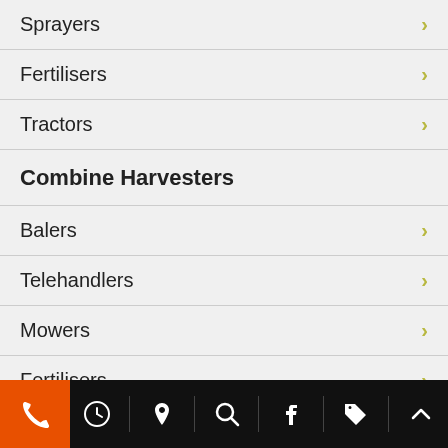Sprayers
Fertilisers
Tractors
Combine Harvesters
Balers
Telehandlers
Mowers
Fertilisers
Cultivation / Drills / Tillage
[Figure (other): Mobile app navigation footer bar with orange phone icon on left, and white icons for clock, map pin, search, Facebook, tag, and up-arrow on black background]